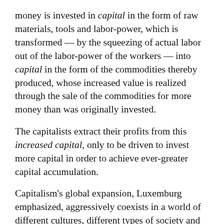money is invested in capital in the form of raw materials, tools and labor-power, which is transformed — by the squeezing of actual labor out of the labor-power of the workers — into capital in the form of the commodities thereby produced, whose increased value is realized through the sale of the commodities for more money than was originally invested.
The capitalists extract their profits from this increased capital, only to be driven to invest more capital in order to achieve ever-greater capital accumulation.
Capitalism's global expansion, Luxemburg emphasized, aggressively coexists in a world of different cultures, different types of society and different modes of production — that is, different economic systems. Imperialism exists at the earliest beginnings of capitalism and continues nonstop, with increasing and overwhelming reach and velocity,